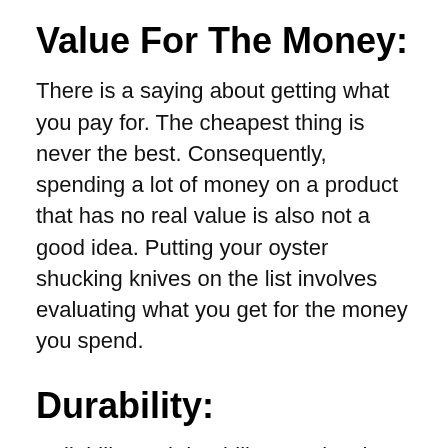Value For The Money:
There is a saying about getting what you pay for. The cheapest thing is never the best. Consequently, spending a lot of money on a product that has no real value is also not a good idea. Putting your oyster shucking knives on the list involves evaluating what you get for the money you spend.
Durability:
Reliability and durability are closely related. With a robust and durable oyster shucking knives, you'll be able to use it for many months to come.